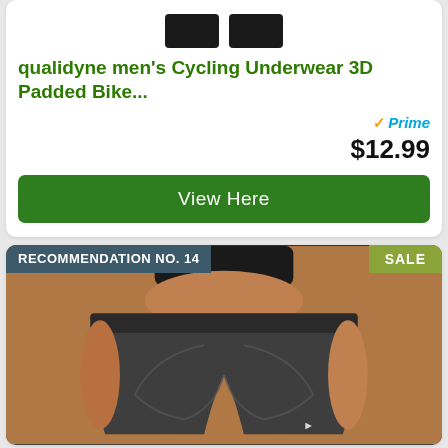[Figure (photo): Product image of cycling underwear/shorts, dark colored, shown from above]
qualidyne men's Cycling Underwear 3D Padded Bike...
[Figure (logo): Amazon Prime badge with checkmark and 'Prime' text in blue italic]
$12.99
View Here
RECOMMENDATION NO. 14
SALE
[Figure (photo): Woman wearing dark gray padded cycling shorts, shown from behind/side, wearing black sports bra]